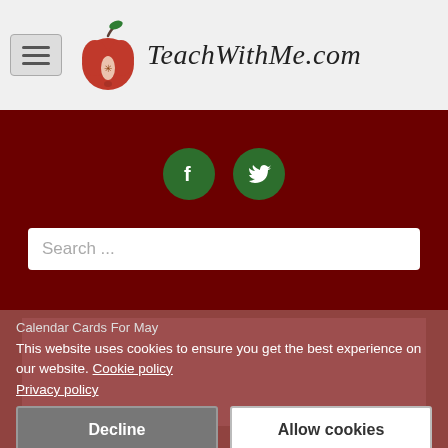TeachWithMe.com
[Figure (other): Facebook and Twitter social media icons (green circles with f and bird symbols)]
Search ...
[Figure (other): Advertisement white banner area on green background]
Calendar Cards For May
This website uses cookies to ensure you get the best experience on our website. Cookie policy Privacy policy
Decline
Allow cookies